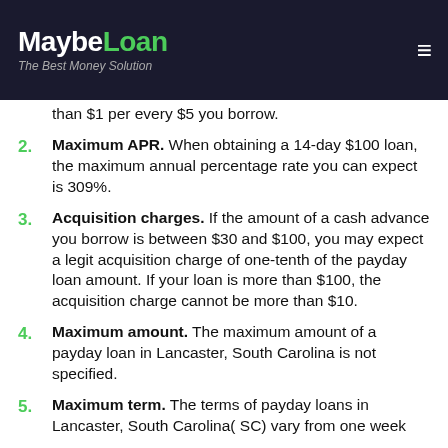MaybeLoan — The Best Money Solution
than $1 per every $5 you borrow.
2. Maximum APR. When obtaining a 14-day $100 loan, the maximum annual percentage rate you can expect is 309%.
3. Acquisition charges. If the amount of a cash advance you borrow is between $30 and $100, you may expect a legit acquisition charge of one-tenth of the payday loan amount. If your loan is more than $100, the acquisition charge cannot be more than $10.
4. Maximum amount. The maximum amount of a payday loan in Lancaster, South Carolina is not specified.
5. Maximum term. The terms of payday loans in Lancaster, South Carolina( SC) vary from one week